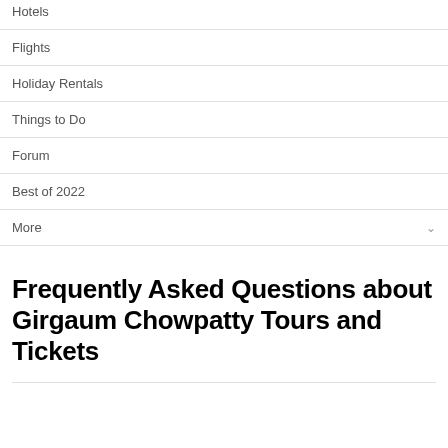Hotels
Flights
Holiday Rentals
Things to Do
Forum
Best of 2022
More
Frequently Asked Questions about Girgaum Chowpatty Tours and Tickets